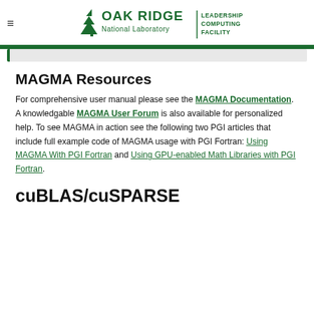Oak Ridge National Laboratory — Leadership Computing Facility
MAGMA Resources
For comprehensive user manual please see the MAGMA Documentation. A knowledgable MAGMA User Forum is also available for personalized help. To see MAGMA in action see the following two PGI articles that include full example code of MAGMA usage with PGI Fortran: Using MAGMA With PGI Fortran and Using GPU-enabled Math Libraries with PGI Fortran.
cuBLAS/cuSPARSE